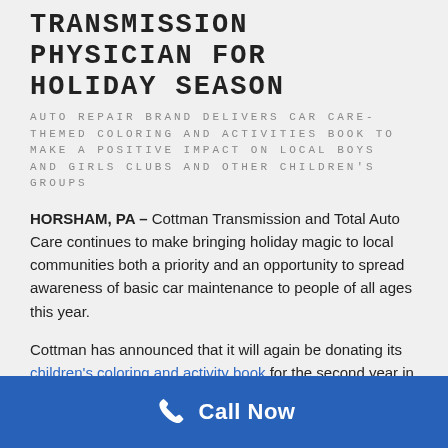TRANSMISSION PHYSICIAN FOR HOLIDAY SEASON
AUTO REPAIR BRAND DELIVERS CAR CARE-THEMED COLORING AND ACTIVITIES BOOK TO MAKE A POSITIVE IMPACT ON LOCAL BOYS AND GIRLS CLUBS AND OTHER CHILDREN'S GROUPS
HORSHAM, PA – Cottman Transmission and Total Auto Care continues to make bringing holiday magic to local communities both a priority and an opportunity to spread awareness of basic car maintenance to people of all ages this year.
Cottman has announced that it will again be donating its children's coloring and activity book for the second year in a row, this time to local chapters of Boys and Girls Club, Big Brothers Big Sisters and Girls, Inc. across the country this holiday season.
Call Now